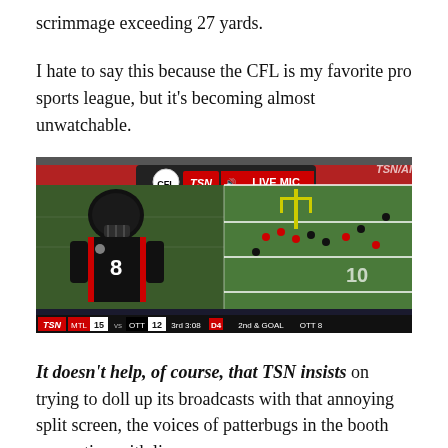scrimmage exceeding 27 yards.
I hate to say this because the CFL is my favorite pro sports league, but it's becoming almost unwatchable.
[Figure (screenshot): TSN broadcast screenshot showing a split screen: left side shows a CFL player in a black and red uniform with number 8, right side shows an aerial view of a CFL football field. Overlay shows CFL and TSN logos with 'LIVE MIC' text. Bottom ticker reads 'STANBACK: 15 CARRIES 85 YARDS TODAY' and scoreboard shows MTL 15, OTT 12, 3rd 3:08, D4, 2nd & GOAL, OTT 8.]
It doesn't help, of course, that TSN insists on trying to doll up its broadcasts with that annoying split screen, the voices of patterbugs in the booth competing with live-